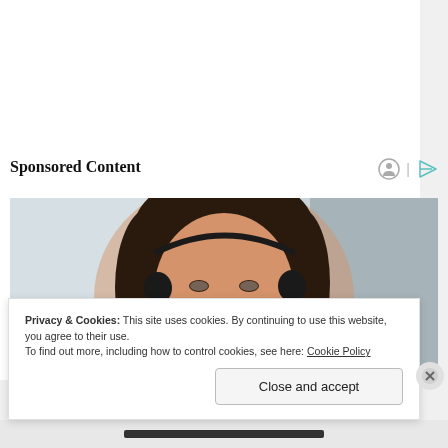Sponsored Content
[Figure (photo): Woman with dark hair smiling and wearing a headset/headphones, customer service representative, blurred background]
Privacy & Cookies: This site uses cookies. By continuing to use this website, you agree to their use.
To find out more, including how to control cookies, see here: Cookie Policy
Close and accept